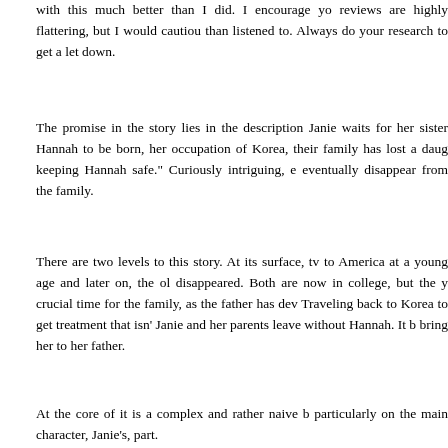with this much better than I did. I encourage yo... reviews are highly flattering, but I would cautio... than listened to. Always do your research to get a... let down.
The promise in the story lies in the description... Janie waits for her sister Hannah to be born, her... occupation of Korea, their family has lost a daug... keeping Hannah safe." Curiously intriguing, e... eventually disappear from the family.
There are two levels to this story. At its surface, tw... to America at a young age and later on, the ol... disappeared. Both are now in college, but the y... crucial time for the family, as the father has dev... Traveling back to Korea to get treatment that isn'... Janie and her parents leave without Hannah. It b... bring her to her father.
At the core of it is a complex and rather naive b... particularly on the main character, Janie's, part.